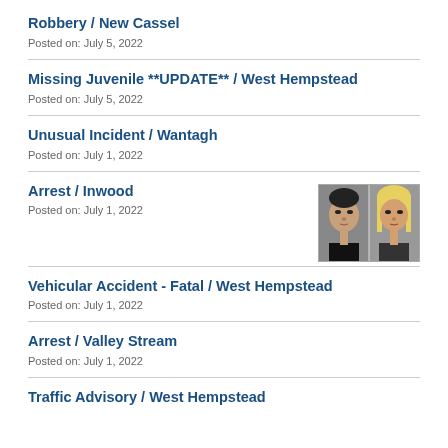Robbery / New Cassel
Posted on: July 5, 2022
Missing Juvenile **UPDATE** / West Hempstead
Posted on: July 5, 2022
Unusual Incident / Wantagh
Posted on: July 1, 2022
Arrest / Inwood
Posted on: July 1, 2022
[Figure (photo): Two mugshot photos side by side — a male on the left and a female with blonde hair on the right]
Vehicular Accident - Fatal / West Hempstead
Posted on: July 1, 2022
Arrest / Valley Stream
Posted on: July 1, 2022
Traffic Advisory / West Hempstead